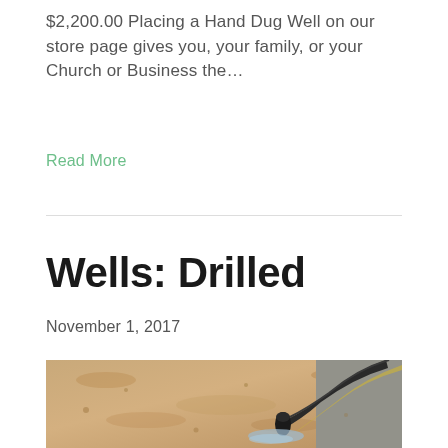$2,200.00 Placing a Hand Dug Well on our store page gives you, your family, or your Church or Business the…
Read More
Wells: Drilled
November 1, 2017
[Figure (photo): Close-up photo of a drilling pipe/hose going into sandy/dirt ground, with water or fluid visible at the base. Appears to be a water well drilling operation.]